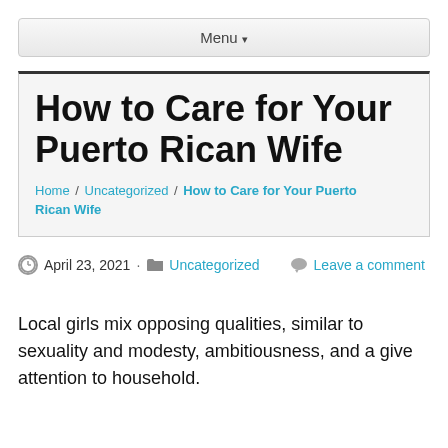Menu ▾
How to Care for Your Puerto Rican Wife
Home / Uncategorized / How to Care for Your Puerto Rican Wife
April 23, 2021 · Uncategorized · Leave a comment
Local girls mix opposing qualities, similar to sexuality and modesty, ambitiousness, and a give attention to household.